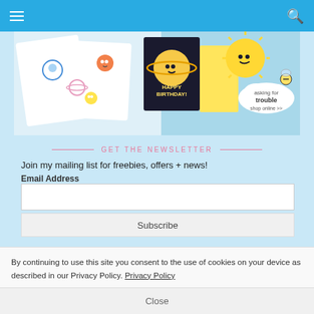Navigation bar with hamburger menu and search icon
[Figure (illustration): Asking for Trouble shop banner showing kawaii planet cards, stickers with cute space characters, a happy birthday card with Saturn planet design, a sun character, and a bee. Text reads 'asking for trouble shop online >>']
GET THE NEWSLETTER
Join my mailing list for freebies, offers + news!
Email Address
Subscribe
By continuing to use this site you consent to the use of cookies on your device as described in our Privacy Policy. Privacy Policy
Close